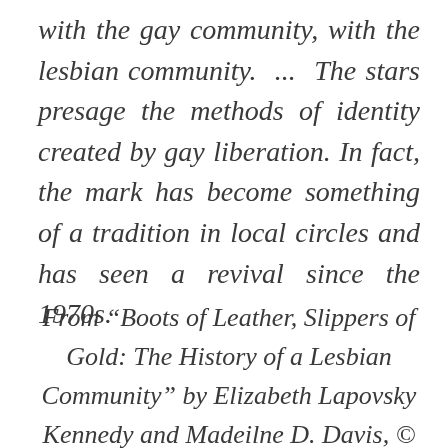with the gay community, with the lesbian community. ... The stars presage the methods of identity created by gay liberation. In fact, the mark has become something of a tradition in local circles and has seen a revival since the 1970s.
From “Boots of Leather, Slippers of Gold: The History of a Lesbian Community” by Elizabeth Lapovsky Kennedy and Madeilne D. Davis, ©